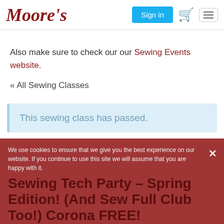Moore's | Sign in | Cart | Menu
Also make sure to check our our Sewing Events website.
« All Sewing Classes
This sewing class has passed.
We use cookies to ensure that we give you the best experience on our website. If you continue to use this site we will assume that you are happy with it.
Sewing Tech Party – Spring Edition! (And Sew Full Club Too!) Corona FREE!